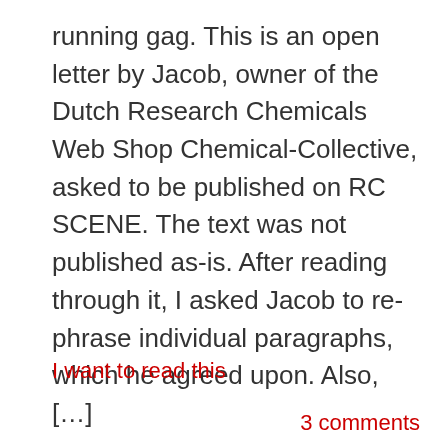running gag. This is an open letter by Jacob, owner of the Dutch Research Chemicals Web Shop Chemical-Collective, asked to be published on RC SCENE. The text was not published as-is. After reading through it, I asked Jacob to re-phrase individual paragraphs, which he agreed upon. Also, […]
I want to read this
3 comments